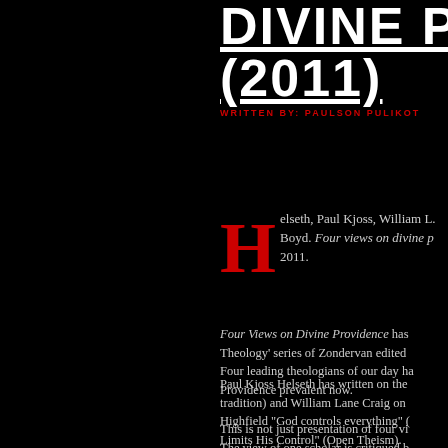DIVINE PR (2011)
WRITTEN BY: PAULSON PULIKOT
Helseth, Paul Kjoss, William L. Boyd. Four views on divine p 2011.
Four Views on Divine Providence has Theology' series of Zondervan edited Four leading theologians of our day ha Providence prevalent now.
Paul Kjoss Helseth has written on the tradition) and William Lane Craig on Highfield "God controls everything" ( Limits His Control" (Open Theism).
This is not just presentation of four vi The view of one scholar is critiqued b good view of the issues involved as th